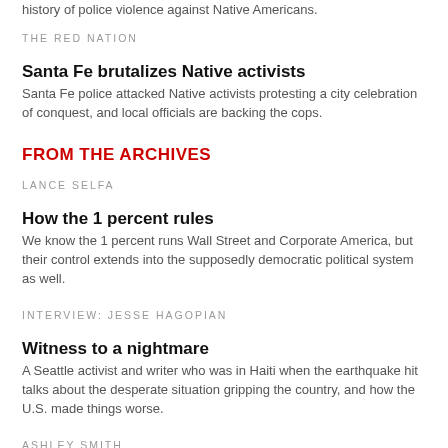history of police violence against Native Americans.
THE RED NATION
Santa Fe brutalizes Native activists
Santa Fe police attacked Native activists protesting a city celebration of conquest, and local officials are backing the cops.
FROM THE ARCHIVES
LANCE SELFA
How the 1 percent rules
We know the 1 percent runs Wall Street and Corporate America, but their control extends into the supposedly democratic political system as well.
INTERVIEW: JESSE HAGOPIAN
Witness to a nightmare
A Seattle activist and writer who was in Haiti when the earthquake hit talks about the desperate situation gripping the country, and how the U.S. made things worse.
ASHLEY SMITH
The return of the regime-change hawks
After a decade in exile, militaristic foreign policy extremists have returned to